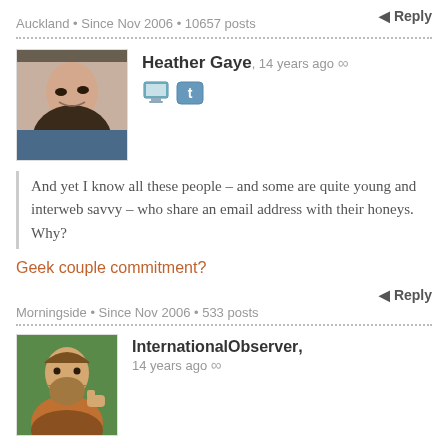Auckland • Since Nov 2006 • 10657 posts
Reply
Heather Gaye, 14 years ago ∞
And yet I know all these people – and some are quite young and interweb savvy – who share an email address with their honeys. Why?
Geek couple commitment?
Morningside • Since Nov 2006 • 533 posts
Reply
InternationalObserver, 14 years ago ∞
About 18 months ago I found I couldn't FW or Reply with attachments via my Extra mail account (it had been fine for the previous 3 years). I started using my Gmail account to send attachments, but